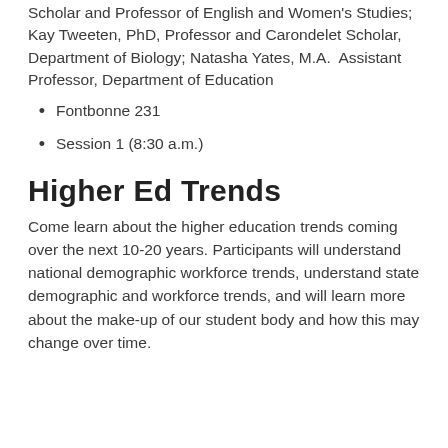Scholar and Professor of English and Women's Studies; Kay Tweeten, PhD, Professor and Carondelet Scholar, Department of Biology; Natasha Yates, M.A.  Assistant Professor, Department of Education
Fontbonne 231
Session 1 (8:30 a.m.)
Higher Ed Trends
Come learn about the higher education trends coming over the next 10-20 years. Participants will understand national demographic workforce trends, understand state demographic and workforce trends, and will learn more about the make-up of our student body and how this may change over time.